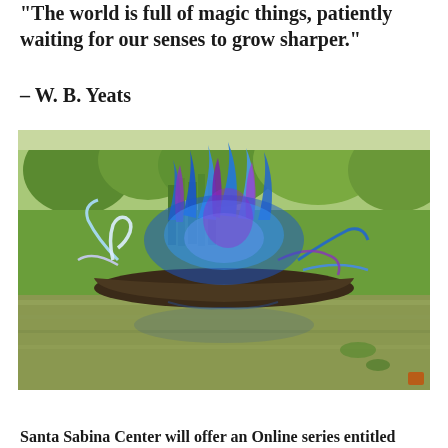"The world is full of magic things, patiently waiting for our senses to grow sharper."
– W. B. Yeats
[Figure (photo): Photograph of a colorful glass art sculpture (blue and purple blown glass forms) displayed in a wooden boat floating on a pond, surrounded by green garden plants and trees.]
Santa Sabina Center will offer an Online series entitled